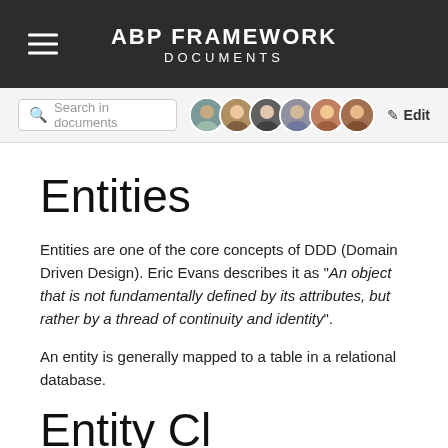ABP FRAMEWORK DOCUMENTS
Entities
Entities are one of the core concepts of DDD (Domain Driven Design). Eric Evans describes it as "An object that is not fundamentally defined by its attributes, but rather by a thread of continuity and identity".
An entity is generally mapped to a table in a relational database.
Entity Cl…